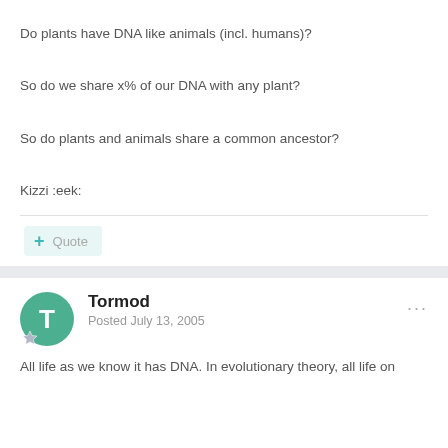Do plants have DNA like animals (incl. humans)?
So do we share x% of our DNA with any plant?
So do plants and animals share a common ancestor?
Kizzi :eek:
Tormod
Posted July 13, 2005
All life as we know it has DNA. In evolutionary theory, all life on